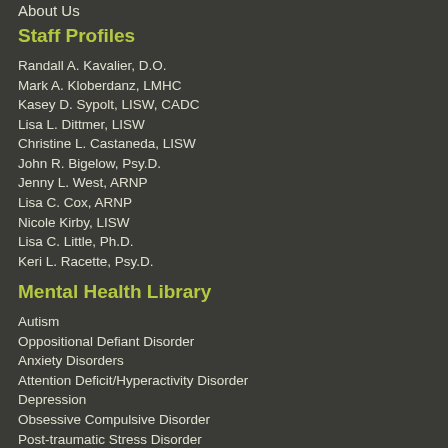About Us
Staff Profiles
Randall A. Kavalier, D.O.
Mark A. Kloberdanz, LMHC
Kasey D. Sypolt, LISW, CADC
Lisa L. Dittmer, LISW
Christine L. Castaneda, LISW
John R. Bigelow, Psy.D.
Jenny L. West, ARNP
Lisa C. Cox, ARNP
Nicole Kirby, LISW
Lisa C. Little, Ph.D.
Keri L. Racette, Psy.D.
Mental Health Library
Autism
Oppositional Defiant Disorder
Anxiety Disorders
Attention Deficit/Hyperactivity Disorder
Depression
Obsessive Compulsive Disorder
Post-traumatic Stress Disorder